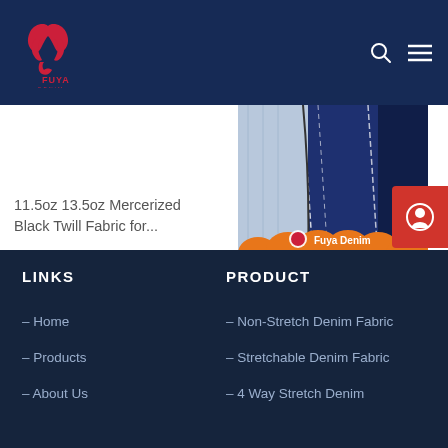Fuya Denim - Logo and navigation header
11.5oz 13.5oz Mercerized Black Twill Fabric for...
[Figure (photo): Denim fabric product photo showing dark blue/indigo denim with lighter reverse side, with orange branded badge overlay showing 'Fuya Denim']
Fuya Denim Distressed Denim Fabric with Hig...
LINKS
PRODUCT
– Home
– Non-Stretch Denim Fabric
– Products
– Stretchable Denim Fabric
– About Us
– 4 Way Stretch Denim